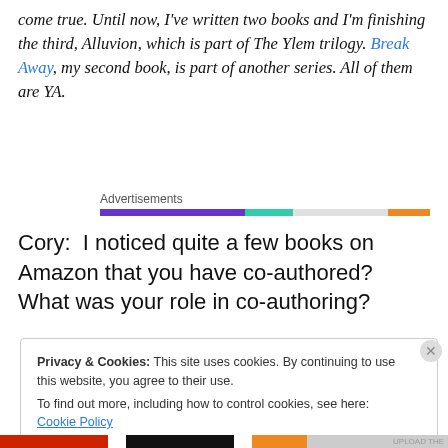come true. Until now, I've written two books and I'm finishing the third, Alluvion, which is part of The Ylem trilogy. Break Away, my second book, is part of another series. All of them are YA.
[Figure (other): Advertisements label with a multi-colored horizontal bar (purple, teal, white/gray, orange segments)]
Cory:  I noticed quite a few books on Amazon that you have co-authored?  What was your role in co-authoring?
Privacy & Cookies: This site uses cookies. By continuing to use this website, you agree to their use.
To find out more, including how to control cookies, see here: Cookie Policy
Close and accept